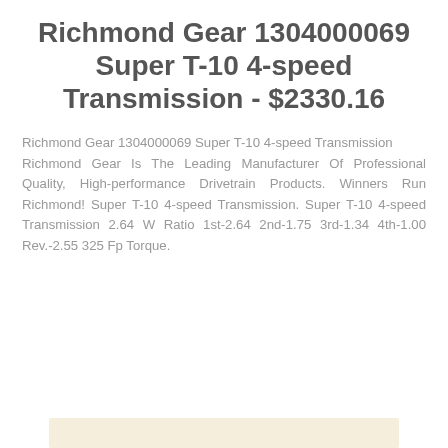Richmond Gear 1304000069 Super T-10 4-speed Transmission - $2330.16
Richmond Gear 1304000069 Super T-10 4-speed Transmission
Richmond Gear Is The Leading Manufacturer Of Professional Quality, High-performance Drivetrain Products. Winners Run Richmond! Super T-10 4-speed Transmission. Super T-10 4-speed Transmission 2.64 W Ratio 1st-2.64 2nd-1.75 3rd-1.34 4th-1.00 Rev.-2.55 325 Fp Torque.